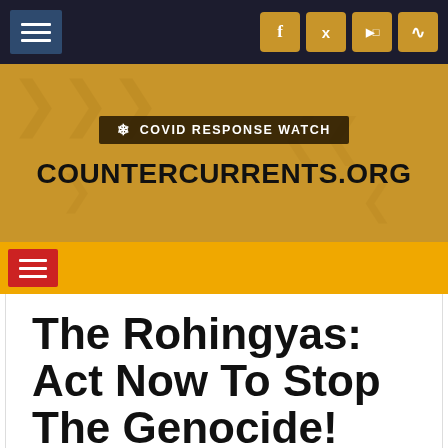[Figure (screenshot): Top navigation bar with dark background, hamburger menu on left, and social media icons (Facebook, Twitter, YouTube, RSS) on right with gold/amber background]
[Figure (screenshot): Website header banner with gold/amber background showing COVID Response Watch badge and COUNTERCURRENTS.ORG site name in bold black uppercase text]
[Figure (screenshot): Secondary amber navigation bar with red hamburger menu icon on left]
The Rohingyas: Act Now To Stop The Genocide!
in Human Rights – by Dr Chandra Muzaffar – 29/11/2016